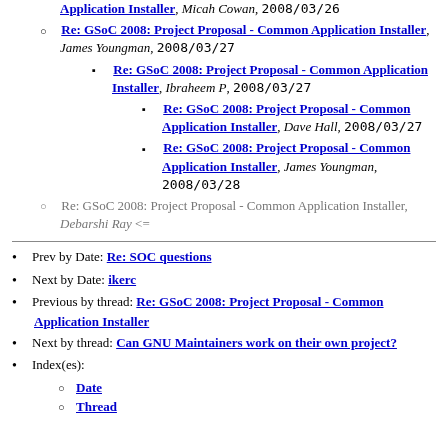Re: GSoC 2008: Project Proposal - Common Application Installer, James Youngman, 2008/03/27
Re: GSoC 2008: Project Proposal - Common Application Installer, Ibraheem P, 2008/03/27
Re: GSoC 2008: Project Proposal - Common Application Installer, Dave Hall, 2008/03/27
Re: GSoC 2008: Project Proposal - Common Application Installer, James Youngman, 2008/03/28
Re: GSoC 2008: Project Proposal - Common Application Installer, Debarshi Ray <=
Prev by Date: Re: SOC questions
Next by Date: ikerc
Previous by thread: Re: GSoC 2008: Project Proposal - Common Application Installer
Next by thread: Can GNU Maintainers work on their own project?
Index(es):
Date
Thread